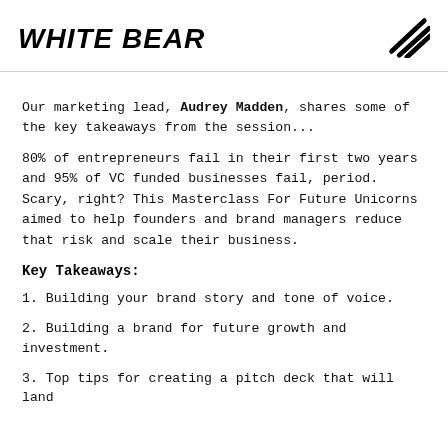WHITE BEAR
Our marketing lead, Audrey Madden, shares some of the key takeaways from the session...
80% of entrepreneurs fail in their first two years and 95% of VC funded businesses fail, period. Scary, right? This Masterclass For Future Unicorns aimed to help founders and brand managers reduce that risk and scale their business.
Key Takeaways:
1. Building your brand story and tone of voice.
2. Building a brand for future growth and investment.
3. Top tips for creating a pitch deck that will land